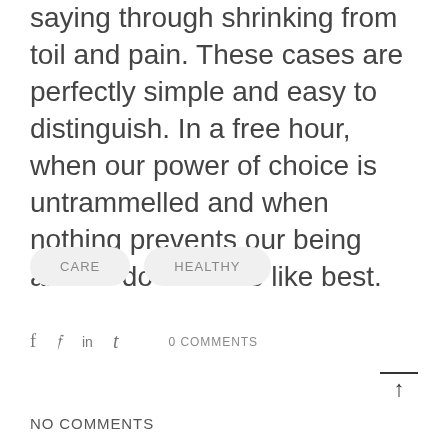saying through shrinking from toil and pain. These cases are perfectly simple and easy to distinguish. In a free hour, when our power of choice is untrammelled and when nothing prevents our being able to do what we like best.
CARE
HEALTHY
f  t  in  t  0 COMMENTS
NO COMMENTS